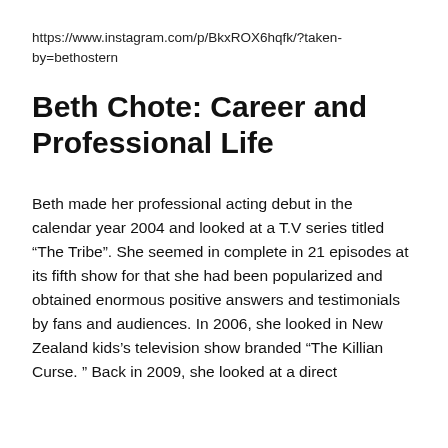https://www.instagram.com/p/BkxROX6hqfk/?taken-by=bethostern
Beth Chote: Career and Professional Life
Beth made her professional acting debut in the calendar year 2004 and looked at a T.V series titled “The Tribe”. She seemed in complete in 21 episodes at its fifth show for that she had been popularized and obtained enormous positive answers and testimonials by fans and audiences. In 2006, she looked in New Zealand kids ’s television show branded “The Killian Curse. ” Back in 2009, she looked at a direct